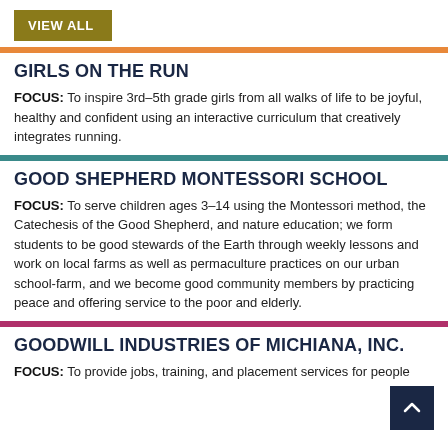VIEW ALL
GIRLS ON THE RUN
FOCUS: To inspire 3rd–5th grade girls from all walks of life to be joyful, healthy and confident using an interactive curriculum that creatively integrates running.
GOOD SHEPHERD MONTESSORI SCHOOL
FOCUS: To serve children ages 3–14 using the Montessori method, the Catechesis of the Good Shepherd, and nature education; we form students to be good stewards of the Earth through weekly lessons and work on local farms as well as permaculture practices on our urban school-farm, and we become good community members by practicing peace and offering service to the poor and elderly.
GOODWILL INDUSTRIES OF MICHIANA, INC.
FOCUS: To provide jobs, training, and placement services for people